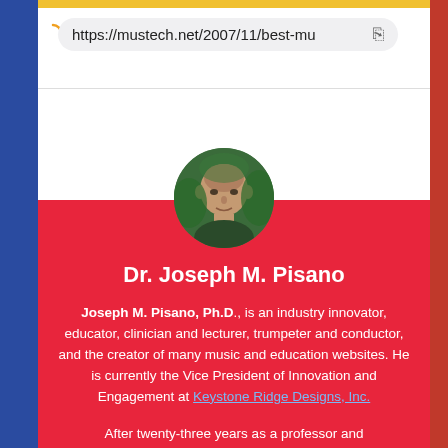https://mustech.net/2007/11/best-mu
[Figure (photo): Circular profile photo of Dr. Joseph M. Pisano, a man with a shaved head, set against a green background, cropped in a circle.]
Dr. Joseph M. Pisano
Joseph M. Pisano, Ph.D., is an industry innovator, educator, clinician and lecturer, trumpeter and conductor, and the creator of many music and education websites. He is currently the Vice President of Innovation and Engagement at Keystone Ridge Designs, Inc.
After twenty-three years as a professor and